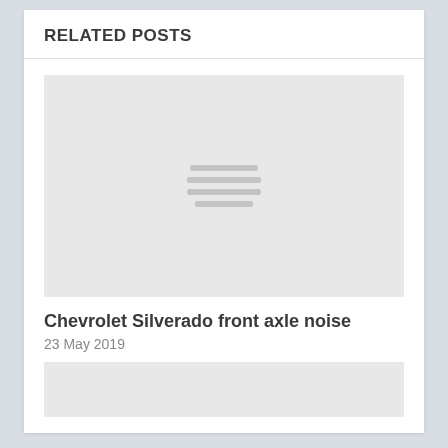RELATED POSTS
[Figure (illustration): Gray placeholder image with three horizontal lines icon in the center, indicating a loading or missing image thumbnail]
Chevrolet Silverado front axle noise
23 May 2019
[Figure (illustration): Gray placeholder image, partially visible at bottom of page]